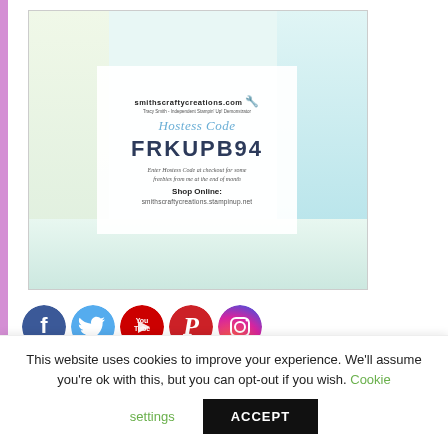[Figure (infographic): Promotional banner for smithscraftycreations.com showing crafting cards in background, a white overlay with 'Hostess Code' in cursive, large code FRKUPB94, instruction text 'Enter Hostess Code at checkout for some freebies from me at the end of month', and 'Shop Online: smithscraftycreations.stampinup.net']
[Figure (infographic): Row of social media icon circles: Facebook (blue), Twitter (light blue), YouTube (red), Pinterest (red/pink), Instagram (purple gradient)]
This website uses cookies to improve your experience. We'll assume you're ok with this, but you can opt-out if you wish. Cookie settings ACCEPT